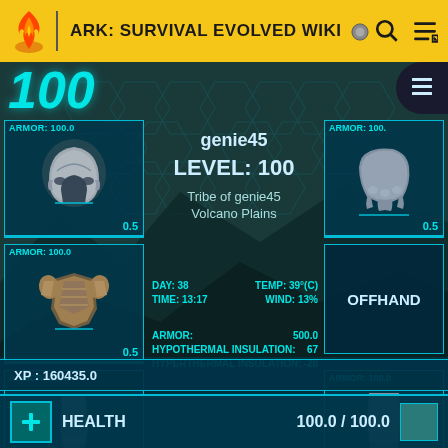ARK: SURVIVAL EVOLVED WIKI
[Figure (screenshot): ARK Survival Evolved game UI showing character inventory/stats screen for player genie45 at Level 100, Tribe of genie45, Volcano Plains. Shows equipment slots with armor pieces rated 100.0 each, environmental stats (DAY: 38, TIME: 13:17, TEMP: 39°C, WIND: 13%), armor stats (ARMOR: 500.0, HYPOTHERMAL INSULATION: 67, HYPERTHERMAL INSULATION: -28), XP: 160435.0, and HEALTH: 100.0 / 100.0]
genie45
LEVEL: 100
Tribe of genie45
Volcano Plains
ARMOR: 100.0
ARMOR: 100.0
ARMOR: 100.0
ARMOR: 100.
OFFHAND
ARMOR: 100.0
DAY: 38   TEMP: 39°(C)
TIME: 13:17   WIND: 13%
ARMOR:   500.0
HYPOTHERMAL INSULATION:   67
HYPERTHERMAL INSULATION:   -28
XP : 160435.0
HEALTH   100.0 / 100.0